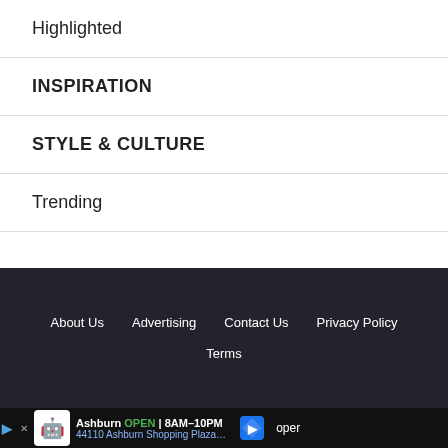Highlighted
INSPIRATION
STYLE & CULTURE
Trending
About Us  Advertising  Contact Us  Privacy Policy  Terms
[Figure (screenshot): Advertisement bar: Ashburn OPEN 8AM–10PM, 44110 Ashburn Shopping Plaza…, with navigation arrow icon. Text 'oper' visible on right.]